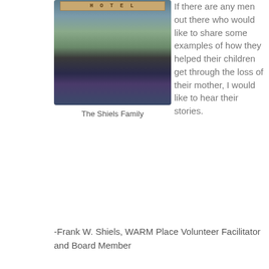[Figure (photo): A selfie photo of three people smiling in front of a hotel sign. An older man on the left, a woman in the center, and a young man with glasses and a blue cap on the right.]
The Shiels Family
If there are any men out there who would like to share some examples of how they helped their children get through the loss of their mother, I would like to hear their stories.
-Frank W. Shiels, WARM Place Volunteer Facilitator and Board Member